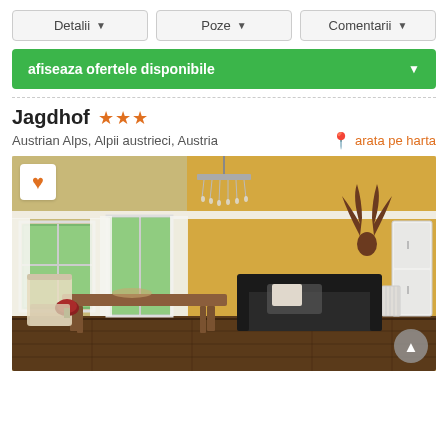[Figure (screenshot): Navigation tab buttons: Detalii, Poze, Comentarii with dropdown arrows]
[Figure (screenshot): Green button: afiseaza ofertele disponibile with dropdown arrow]
Jagdhof ★★★
Austrian Alps, Alpii austrieci, Austria
arata pe harta
[Figure (photo): Interior photo of Jagdhof hotel room showing living/dining area with wooden table, chairs, black sofa, yellow walls, chandelier, windows with curtains, deer antler decoration, refrigerator]